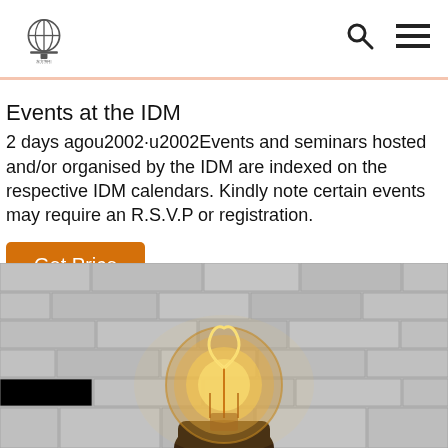IDM logo, search icon, menu icon
Events at the IDM
2 days agou2002·u2002Events and seminars hosted and/or organised by the IDM are indexed on the respective IDM calendars. Kindly note certain events may require an R.S.V.P or registration.
Get Price
[Figure (photo): An Edison-style vintage incandescent light bulb glowing with visible filament, mounted against a white brick wall background.]